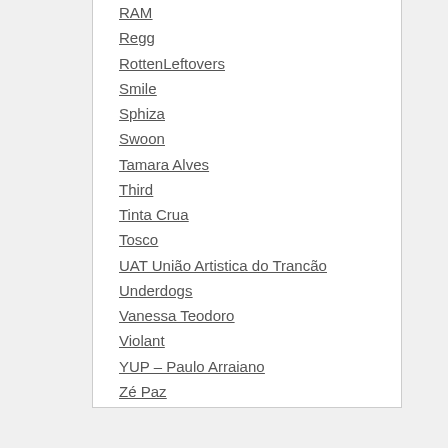RAM
Regg
RottenLeftovers
Smile
Sphiza
Swoon
Tamara Alves
Third
Tinta Crua
Tosco
UAT União Artistica do Trancão
Underdogs
Vanessa Teodoro
Violant
YUP – Paulo Arraiano
Zé Paz